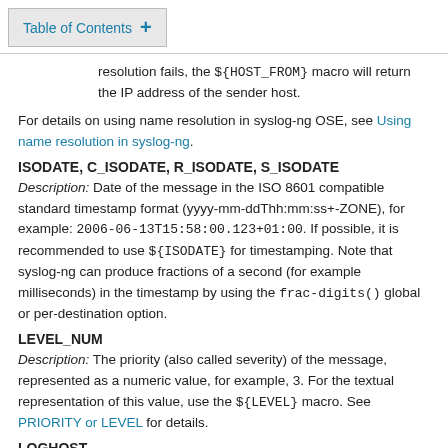Table of Contents +
resolution fails, the ${HOST_FROM} macro will return the IP address of the sender host.
For details on using name resolution in syslog-ng OSE, see Using name resolution in syslog-ng.
ISODATE, C_ISODATE, R_ISODATE, S_ISODATE
Description: Date of the message in the ISO 8601 compatible standard timestamp format (yyyy-mm-ddThh:mm:ss+-ZONE), for example: 2006-06-13T15:58:00.123+01:00. If possible, it is recommended to use ${ISODATE} for timestamping. Note that syslog-ng can produce fractions of a second (for example milliseconds) in the timestamp by using the frac-digits() global or per-destination option.
LEVEL_NUM
Description: The priority (also called severity) of the message, represented as a numeric value, for example, 3. For the textual representation of this value, use the ${LEVEL} macro. See PRIORITY or LEVEL for details.
LOGHOST
Description: The hostname of the computer running syslog-ng OSE — it